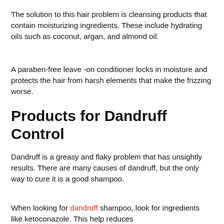The solution to this hair problem is cleansing products that contain moisturizing ingredients. These include hydrating oils such as coconut, argan, and almond oil.
A paraben-free leave -on conditioner locks in moisture and protects the hair from harsh elements that make the frizzing worse.
Products for Dandruff Control
Dandruff is a greasy and flaky problem that has unsightly results. There are many causes of dandruff, but the only way to cure it is a good shampoo.
When looking for dandruff shampoo, look for ingredients like ketoconazole. This help reduces